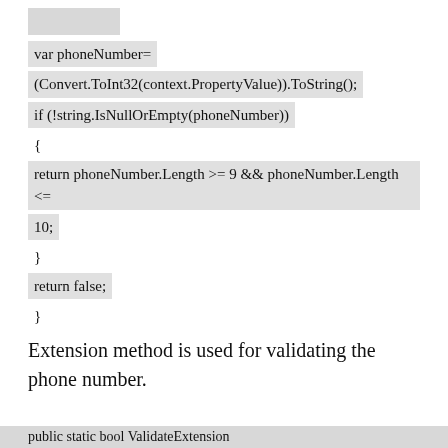{
var phoneNumber=
(Convert.ToInt32(context.PropertyValue)).ToString();
if (!string.IsNullOrEmpty(phoneNumber))
{
return phoneNumber.Length >= 9 && phoneNumber.Length <=
10;
}
return false;
}
Extension method is used for validating the phone number.
public static bool ValidateExtension